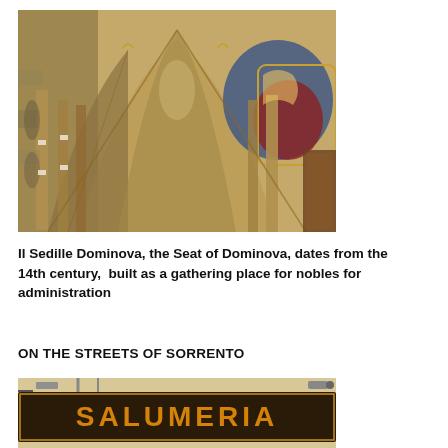[Figure (photo): Interior of Il Sedille Dominova showing ornate baroque arched ceiling with frescoes, gilded columns, and painted coat of arms]
Il Sedille Dominova, the Seat of Dominova, dates from the 14th century,  built as a gathering place for nobles for administration
ON THE STREETS OF SORRENTO
[Figure (photo): Street-level storefront with a large dark wooden sign reading SALUMERIA in gold/orange letters]